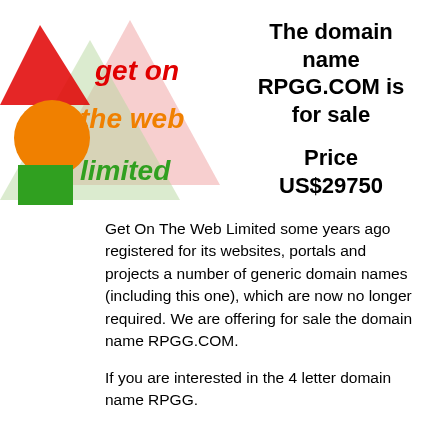[Figure (logo): Get On The Web Limited logo featuring a red triangle, orange circle, green square, and a large pink/green overlapping triangle in the background, with text 'get on the web limited' in red, orange, and green colors.]
The domain name RPGG.COM is for sale
Price US$29750
Get On The Web Limited some years ago registered for its websites, portals and projects a number of generic domain names (including this one), which are now no longer required. We are offering for sale the domain name RPGG.COM.
If you are interested in the 4 letter domain name RPGG...